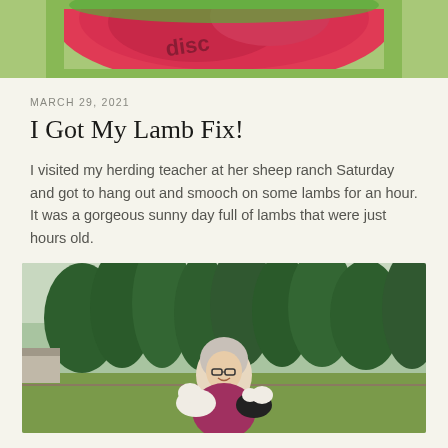[Figure (photo): Top portion of a colorful disc/frisbee with pink/red and green colors on grass background]
MARCH 29, 2021
I Got My Lamb Fix!
I visited my herding teacher at her sheep ranch Saturday and got to hang out and smooch on some lambs for an hour. It was a gorgeous sunny day full of lambs that were just hours old.
[Figure (photo): Woman with grey hair and glasses smiling outdoors holding two small lambs (one white, one black and white), with tall evergreen trees and green fields in the background]